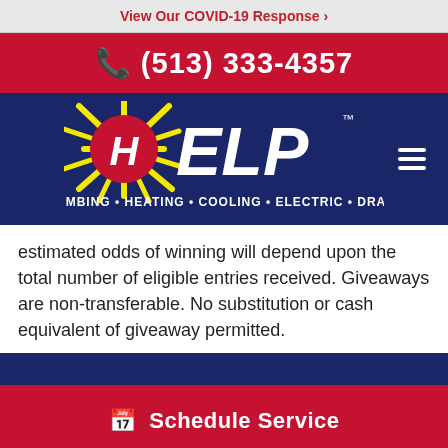View Our COVID-19 Response ›
(513) 333-4357
[Figure (logo): HELP Plumbing Heating Cooling Electric Drains company logo on dark navy blue background with yellow sun rays and red circular emblem, with hamburger menu icon]
estimated odds of winning will depend upon the total number of eligible entries received. Giveaways are non-transferable. No substitution or cash equivalent of giveaway permitted.
Schedule Service